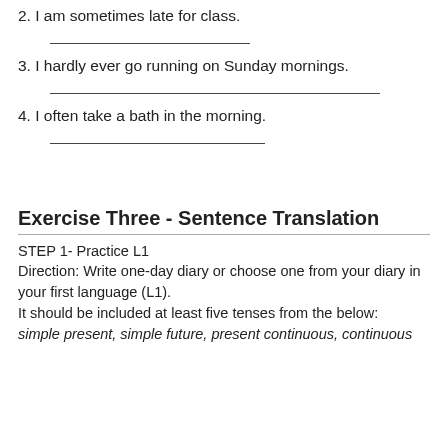2. I am sometimes late for class.
3. I hardly ever go running on Sunday mornings.
4. I often take a bath in the morning.
Exercise Three - Sentence Translation
STEP 1- Practice L1
Direction: Write one-day diary or choose one from your diary in your first language (L1).
It should be included at least five tenses from the below:
simple present, simple future, present continuous, continuous